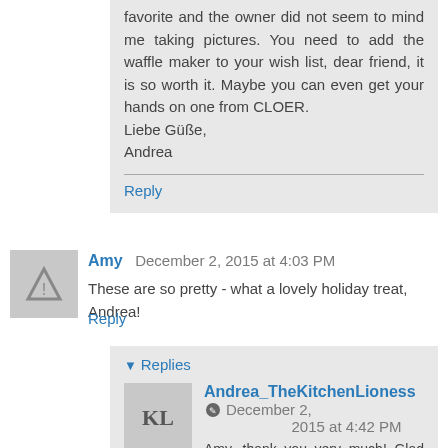favorite and the owner did not seem to mind me taking pictures. You need to add the waffle maker to your wish list, dear friend, it is so worth it. Maybe you can even get your hands on one from CLOER.
Liebe Güße,
Andrea
Reply
Amy  December 2, 2015 at 4:03 PM
These are so pretty - what a lovely holiday treat, Andrea!
Reply
Replies
Andrea_TheKitchenLioness  December 2, 2015 at 4:42 PM
Amy, thank you very much! Glad you like these crunchy, Christmassy waffles!